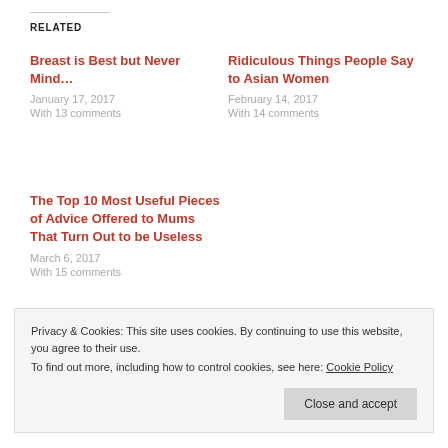RELATED
Breast is Best but Never Mind…
January 17, 2017
With 13 comments
Ridiculous Things People Say to Asian Women
February 14, 2017
With 14 comments
The Top 10 Most Useful Pieces of Advice Offered to Mums That Turn Out to be Useless
March 6, 2017
With 15 comments
Privacy & Cookies: This site uses cookies. By continuing to use this website, you agree to their use.
To find out more, including how to control cookies, see here: Cookie Policy
Close and accept